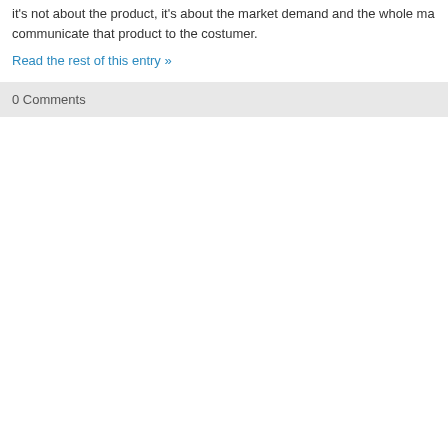it's not about the product, it's about the market demand and the whole ma... communicate that product to the costumer.
Read the rest of this entry »
0 Comments